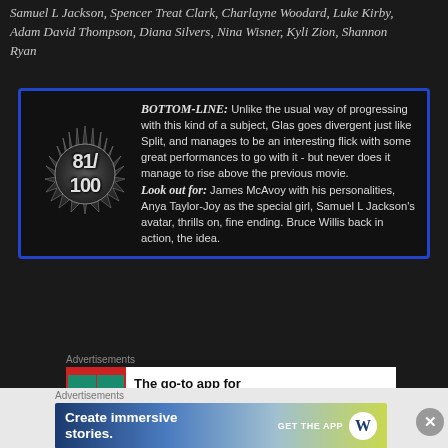Samuel L Jackson, Spencer Treat Clark, Charlayne Woodard, Luke Kirby, Adam David Thompson, Diana Silvers, Nina Wisner, Kyli Zion, Shannon Ryan
[Figure (infographic): Review box with blue border and black background. Left side shows a starburst/sunburst graphic with score 81/100. Right side contains BOTTOM-LINE review text and Look out for section.]
Advertisements
[Figure (screenshot): Pocket Casts advertisement: The go-to app for podcast lovers. Shows colorful app icon grid on left.]
REPORT THIS AD
Advertisements
[Figure (screenshot): WordPress advertisement: Create immersive stories. GET THE APP with WordPress logo on gradient background.]